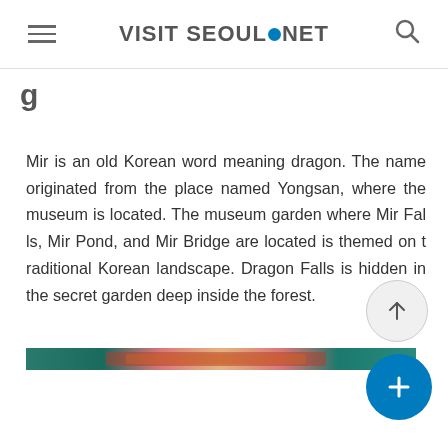VISIT SEOUL.NET
Mir is an old Korean word meaning dragon. The name originated from the place named Yongsan, where the museum is located. The museum garden where Mir Falls, Mir Pond, and Mir Bridge are located is themed on traditional Korean landscape. Dragon Falls is hidden in the secret garden deep inside the forest.
[Figure (photo): A narrow horizontal strip image showing a scenic view, appears to be a garden or landscape scene with teal/blue-green tones and a decorative banner or ribbon element.]